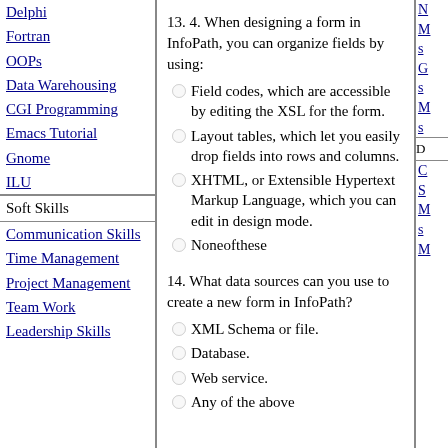Delphi
Fortran
OOPs
Data Warehousing
CGI Programming
Emacs Tutorial
Gnome
ILU
Soft Skills
Communication Skills
Time Management
Project Management
Team Work
Leadership Skills
13. 4. When designing a form in InfoPath, you can organize fields by using:
Field codes, which are accessible by editing the XSL for the form.
Layout tables, which let you easily drop fields into rows and columns.
XHTML, or Extensible Hypertext Markup Language, which you can edit in design mode.
Noneofthese
14. What data sources can you use to create a new form in InfoPath?
XML Schema or file.
Database.
Web service.
Any of the above